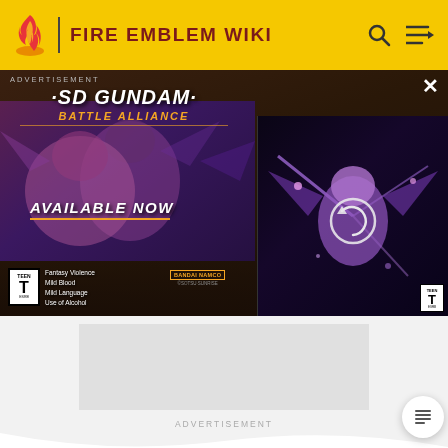FIRE EMBLEM WIKI
[Figure (screenshot): SD Gundam Battle Alliance advertisement banner showing robots/mechs with text 'AVAILABLE NOW', ESRB Teen rating, Bandai Namco logo, and a partially loaded video preview on the right side.]
ADVERTISEMENT
MORE INFORMATION
Top Contributors
Categories